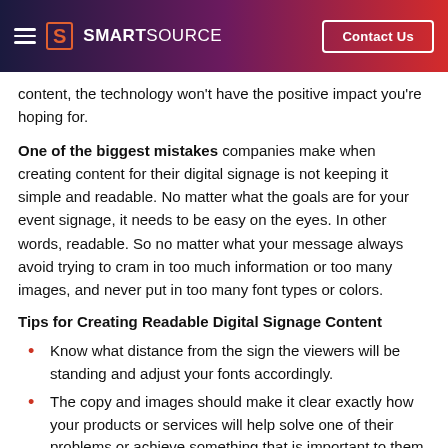SMARTSOURCE | Contact Us
content, the technology won’t have the positive impact you’re hoping for.
One of the biggest mistakes companies make when creating content for their digital signage is not keeping it simple and readable. No matter what the goals are for your event signage, it needs to be easy on the eyes. In other words, readable. So no matter what your message always avoid trying to cram in too much information or too many images, and never put in too many font types or colors.
Tips for Creating Readable Digital Signage Content
Know what distance from the sign the viewers will be standing and adjust your fonts accordingly.
The copy and images should make it clear exactly how your products or services will help solve one of their problems or achieve something that is important to them.
Be brief. Just because you can fit more into digital content